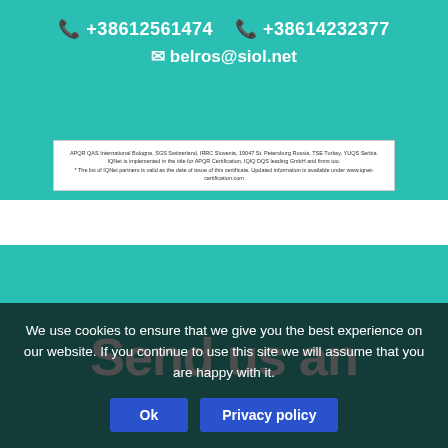📞 +38612561474   📞 +38614232377
✉ belros@siol.net
[Figure (screenshot): Small certificate or document text box with fine print about APQR QAS International, Bologna, SGS Switzerland, IRRC Slovenia, St Petersburg Russia, TUV Turkey, YUQS Serbia. IQNet implemented in the title for APQR. Updated information available under www.iqnet-certification.com]
Send us an
We use cookies to ensure that we give you the best experience on our website. If you continue to use this site we will assume that you are happy with it.
Ok
Privacy policy